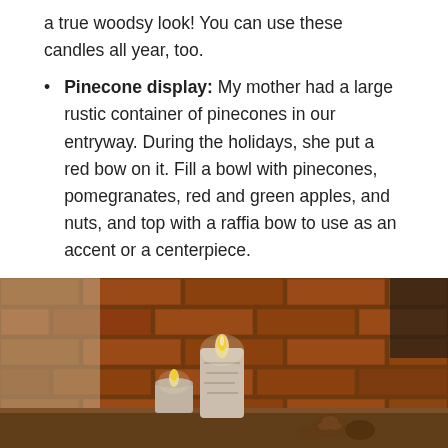a true woodsy look! You can use these candles all year, too.
Pinecone display: My mother had a large rustic container of pinecones in our entryway. During the holidays, she put a red bow on it. Fill a bowl with pinecones, pomegranates, red and green apples, and nuts, and top with a raffia bow to use as an accent or a centerpiece.
[Figure (photo): Photo of lit candles on a wooden surface in front of a brick fireplace wall, with pinecones visible in the foreground. Warm, cozy ambiance.]